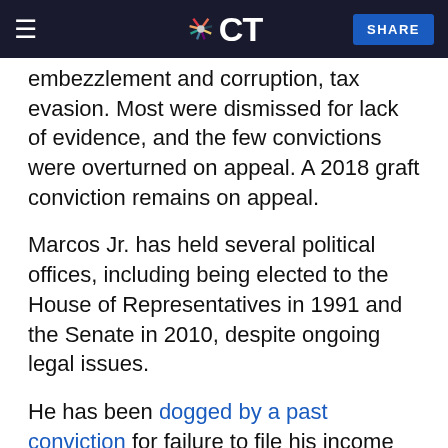≡ CT SHARE
embezzlement and corruption, tax evasion. Most were dismissed for lack of evidence, and the few convictions were overturned on appeal. A 2018 graft conviction remains on appeal.
Marcos Jr. has held several political offices, including being elected to the House of Representatives in 1991 and the Senate in 2010, despite ongoing legal issues.
He has been dogged by a past conviction for failure to file his income tax papers and a government demand for a huge estate tax payment, which opponents unsuccessfully tried to use to disqualify his bid for the presidency. The petitions against his candidacy remain on appeal and could reach the Supreme Court.